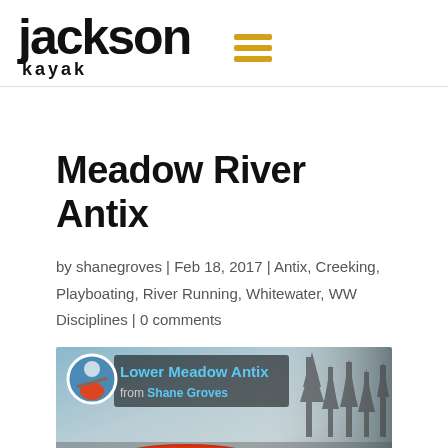Jackson Kayak
Meadow River Antix
by shanegroves | Feb 18, 2017 | Antix, Creeking, Playboating, River Running, Whitewater, WW Disciplines | 0 comments
[Figure (screenshot): Video thumbnail for 'Lower Meadow Antix' from Shane Groves on Vimeo, showing a kayaker on a river with trees in background and a red kayak in foreground]